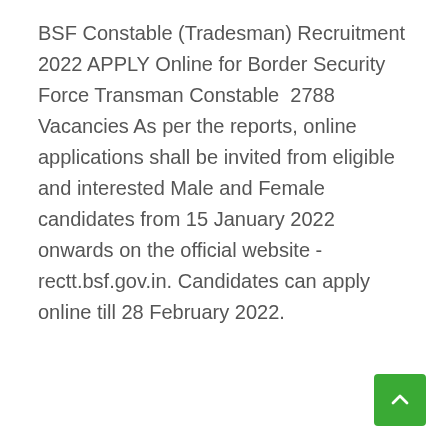BSF Constable (Tradesman) Recruitment 2022 APPLY Online for Border Security Force Transman Constable  2788 Vacancies As per the reports, online applications shall be invited from eligible and interested Male and Female candidates from 15 January 2022 onwards on the official website - rectt.bsf.gov.in. Candidates can apply online till 28 February 2022.